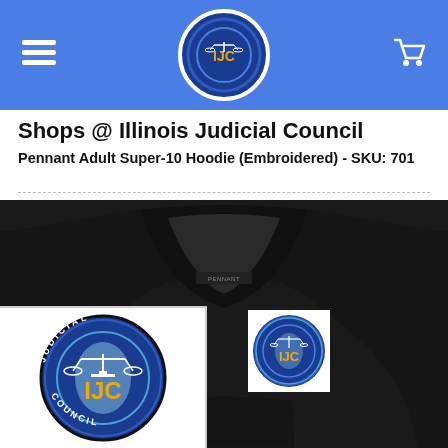Shops @ Illinois Judicial Council
Shops @ Illinois Judicial Council
Pennant Adult Super-10 Hoodie (Embroidered) - SKU: 701
[Figure (photo): Product photo of a black Pennant hoodie with the Illinois Judicial Council (IJC) logo embroidered on the chest. A zoomed-in inset of the IJC logo is shown in the bottom-left corner.]